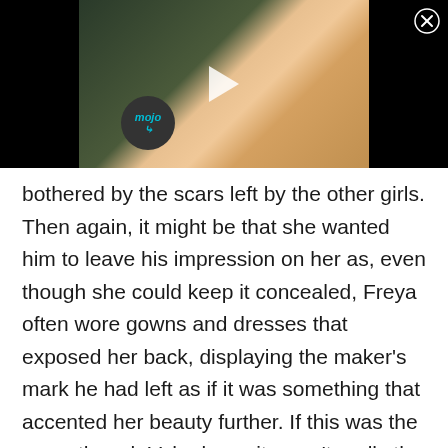[Figure (screenshot): Anime-style illustration of a blonde girl with wide eyes and open mouth, on a dark background, with a play button overlay and a circular 'mojo' watermark badge. A close (X) button appears in the top-right corner.]
bothered by the scars left by the other girls. Then again, it might be that she wanted him to leave his impression on her as, even though she could keep it concealed, Freya often wore gowns and dresses that exposed her back, displaying the maker's mark he had left as if it was something that accented her beauty further. If this was the case, though Vahn knew it wasn't really the truth of the matter, that would probably